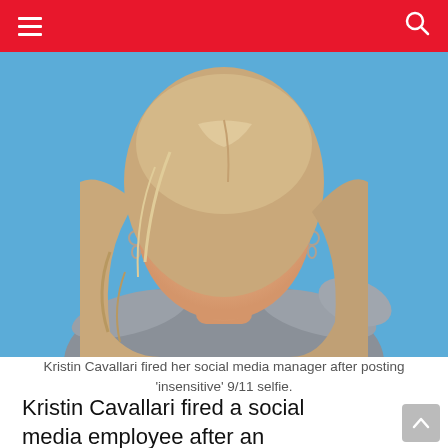[Figure (photo): Blonde woman smiling in front of blue Universal background with white logo text visible, wearing gray dress with hoop earrings]
Kristin Cavallari fired her social media manager after posting 'insensitive' 9/11 selfie.
Kristin Cavallari fired a social media employee after an insensitive post went viral around 9/11.